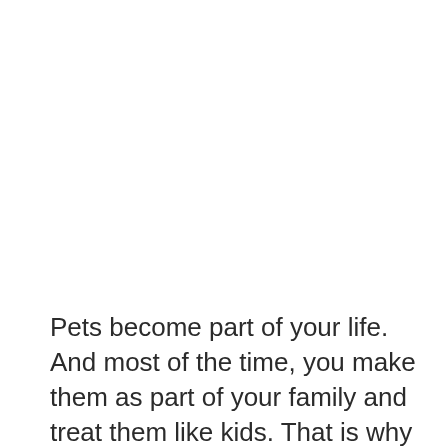Pets become part of your life. And most of the time, you make them as part of your family and treat them like kids. That is why you love to